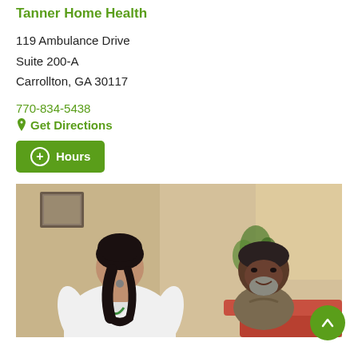Tanner Home Health
119 Ambulance Drive
Suite 200-A
Carrollton, GA 30117
770-834-5438
Get Directions
Hours
[Figure (photo): A healthcare worker in a white coat (seen from behind) speaking with an elderly African American man with a gray beard, seated in a home setting with warm lighting, a plant, and framed art on the wall.]
Tanner Hospice Care
119 Ambulance Drive